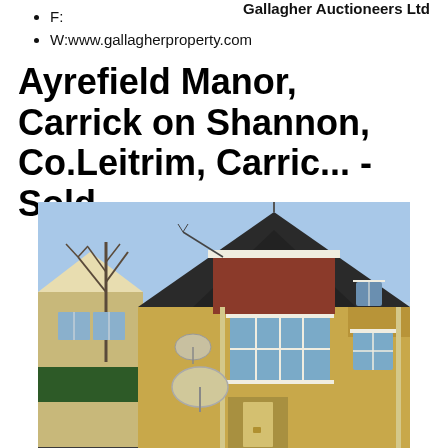Gallagher Auctioneers Ltd
F:
W:www.gallagherproperty.com
Ayrefield Manor, Carrick on Shannon, Co.Leitrim, Carric... - Sold
[Figure (photo): Exterior photograph of a brick residential property at Ayrefield Manor, Carrick on Shannon. Shows a semi-detached or terraced house with dark tiled roof, red brick upper gable, yellow/tan brick lower facade, white-framed windows including a large bay window on the first floor, satellite dishes on the wall, bare trees to the left, and a blue sky background.]